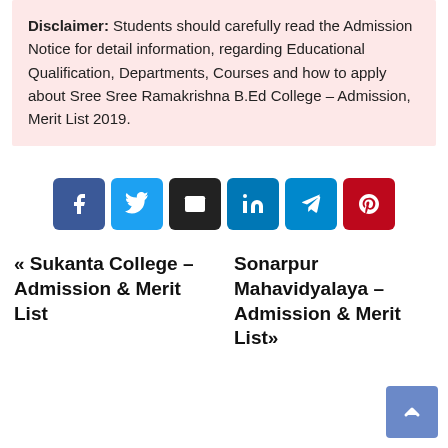Disclaimer: Students should carefully read the Admission Notice for detail information, regarding Educational Qualification, Departments, Courses and how to apply about Sree Sree Ramakrishna B.Ed College – Admission, Merit List 2019.
[Figure (infographic): Social share buttons: Facebook (blue), Twitter (light blue), Email (black), LinkedIn (blue), Telegram (teal), Pinterest (red)]
« Sukanta College – Admission & Merit List
Sonarpur Mahavidyalaya – Admission & Merit List»